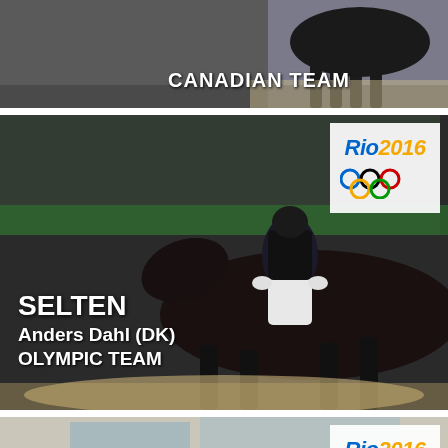[Figure (photo): Equestrian dressage rider with horse at competition, text overlay showing CANADIAN TEAM]
CANADIAN TEAM
[Figure (photo): Equestrian dressage rider Anders Dahl (DK) on dark horse at Rio 2016 Olympics, with Rio 2016 Olympic logo in corner]
SELTEN
Anders Dahl (DK)
OLYMPIC TEAM
[Figure (photo): Equestrian dressage rider on horse at Rio 2016 Olympics, with Rio 2016 Olympic logo in corner]